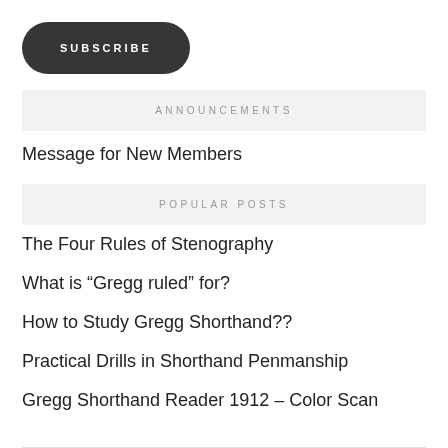SUBSCRIBE
ANNOUNCEMENTS
Message for New Members
POPULAR POSTS
The Four Rules of Stenography
What is “Gregg ruled” for?
How to Study Gregg Shorthand??
Practical Drills in Shorthand Penmanship
Gregg Shorthand Reader 1912 – Color Scan